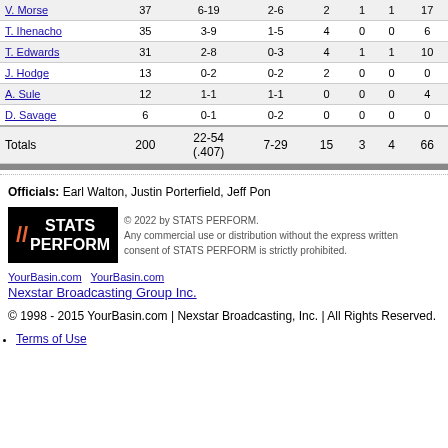| Player | MIN | FG | 3PT | REB | AST | BLK | PTS |
| --- | --- | --- | --- | --- | --- | --- | --- |
| V. Morse | 37 | 6-19 | 2-6 | 2 | 1 | 1 | 17 |
| T. Ihenacho | 35 | 3-9 | 1-5 | 4 | 0 | 0 | 6 |
| T. Edwards | 31 | 2-8 | 0-3 | 4 | 1 | 1 | 10 |
| J. Hodge | 13 | 0-2 | 0-2 | 2 | 0 | 0 | 0 |
| A. Sule | 12 | 1-1 | 1-1 | 0 | 0 | 0 | 4 |
| D. Savage | 6 | 0-1 | 0-2 | 0 | 0 | 0 | 0 |
| Totals | 200 | 22-54 (.407) | 7-29 | 15 | 3 | 4 | 66 |
Officials: Earl Walton, Justin Porterfield, Jeff Pon
[Figure (logo): STATS PERFORM logo]
© 2022 by STATS PERFORM. Any commercial use or distribution without the express written consent of STATS PERFORM is strictly prohibited.
YourBasin.com YourBasin.com Nexstar Broadcasting Group Inc.
© 1998 - 2015 YourBasin.com | Nexstar Broadcasting, Inc. | All Rights Reserved.
Terms of Use